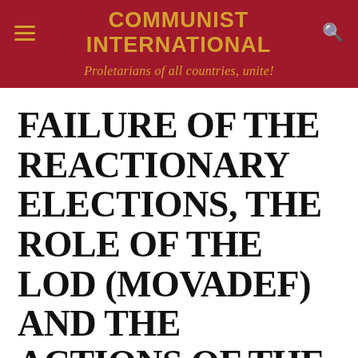COMMUNIST INTERNATIONAL — Proletarians of all countries, unite!
FAILURE OF THE REACTIONARY ELECTIONS, THE ROLE OF THE LOD (MOVADEF) AND THE ACTIONS OF THE "FEUDAL WARLORDS" OF